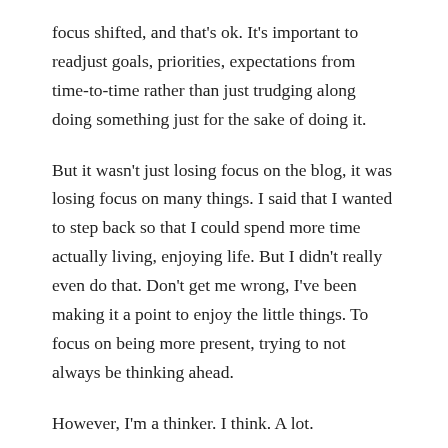focus shifted, and that's ok. It's important to readjust goals, priorities, expectations from time-to-time rather than just trudging along doing something just for the sake of doing it.
But it wasn't just losing focus on the blog, it was losing focus on many things. I said that I wanted to step back so that I could spend more time actually living, enjoying life. But I didn't really even do that. Don't get me wrong, I've been making it a point to enjoy the little things. To focus on being more present, trying to not always be thinking ahead.
However, I'm a thinker. I think. A lot.
My mind is always going with new ideas. New business ideas. New workouts to try, new recipes to taste, new blog posts and informative articles to write. New ways to promote Where's the